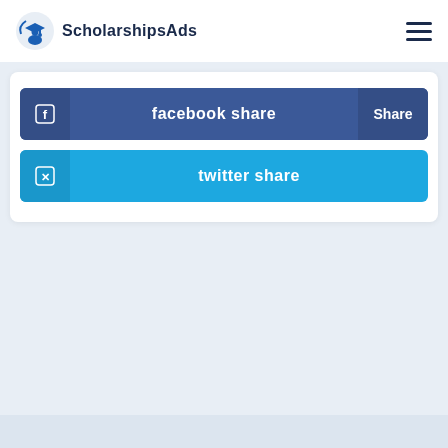ScholarshipsAds
[Figure (screenshot): Facebook share button (dark blue) with icon and share count, and Twitter share button (light blue) with icon]
[Figure (illustration): Light blue diagonal decorative background shape in lower portion of page]